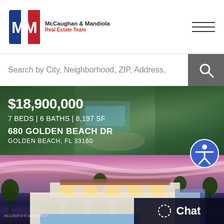[Figure (logo): McCaughan & Mandiola Real Estate Team logo with MM letters in red, white, and blue]
Search by City, Neighborhood, ZIP, Address,
$18,900,000
7 BEDS | 6 BATHS | 8,197 SF
680 GOLDEN BEACH DR
GOLDEN BEACH, FL 33160
[Figure (photo): Aerial view of luxury waterfront property at 680 Golden Beach Dr surrounded by tropical greenery]
[Figure (photo): Exterior night/sunset view of luxury Mediterranean-style mansion with illuminated arches, pool, and palm trees under purple-pink sky]